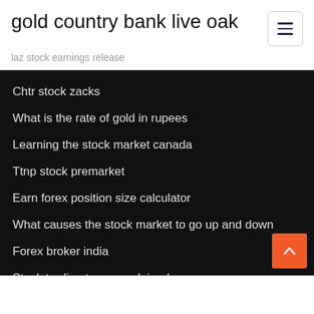gold country bank live oak
laz stock earnings release
Chtr stock zacks
What is the rate of gold in rupees
Learning the stock market canada
Ttnp stock premarket
Earn forex position size calculator
What causes the stock market to go up and down
Forex broker india
Stock trading terms explained
Stock options vs futures
Angel broking online trading demo